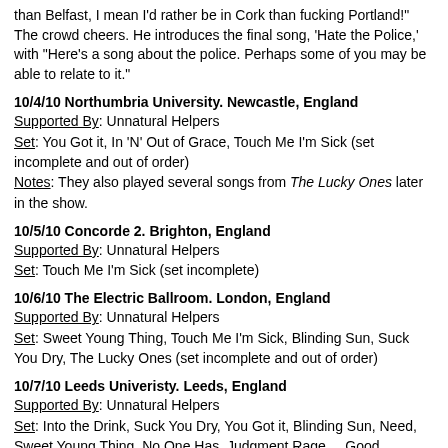than Belfast, I mean I'd rather be in Cork than fucking Portland!" The crowd cheers. He introduces the final song, 'Hate the Police,' with "Here's a song about the police. Perhaps some of you may be able to relate to it."
10/4/10 Northumbria University. Newcastle, England
Supported By: Unnatural Helpers
Set: You Got it, In 'N' Out of Grace, Touch Me I'm Sick (set incomplete and out of order)
Notes: They also played several songs from The Lucky Ones later in the show.
10/5/10 Concorde 2. Brighton, England
Supported By: Unnatural Helpers
Set: Touch Me I'm Sick (set incomplete)
10/6/10 The Electric Ballroom. London, England
Supported By: Unnatural Helpers
Set: Sweet Young Thing, Touch Me I'm Sick, Blinding Sun, Suck You Dry, The Lucky Ones (set incomplete and out of order)
10/7/10 Leeds Univeristy. Leeds, England
Supported By: Unnatural Helpers
Set: Into the Drink, Suck You Dry, You Got it, Blinding Sun, Need, Sweet Young Thing, No One Has, Judgment Rage..., Good Enough, Touch Me I'm Sick, Inside Job, F.D.K., Hard-on for War, When Tomorrow Hits/In 'N' Out of Grace, The Open Mind, I'm Now, Next Time, The Lucky Ones, Tales of Terror
Encore: If I Think, Who You Drivin' Now?, Here Comes Sickness, Hate the Police
10/8/10 The Tunnel. Aberdeen, Scotland
Attendance: 250